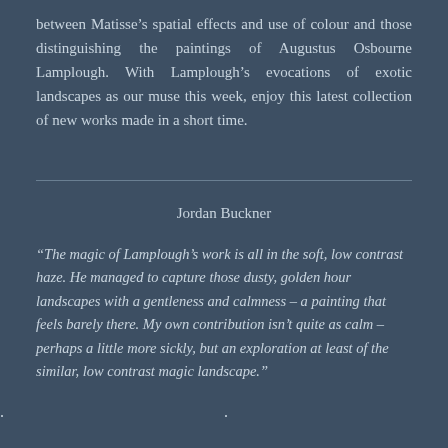between Matisse's spatial effects and use of colour and those distinguishing the paintings of Augustus Osbourne Lamplough. With Lamplough's evocations of exotic landscapes as our muse this week, enjoy this latest collection of new works made in a short time.
Jordan Buckner
“The magic of Lamplough’s work is all in the soft, low contrast haze. He managed to capture those dusty, golden hour landscapes with a gentleness and calmness – a painting that feels barely there. My own contribution isn’t quite as calm – perhaps a little more sickly, but an exploration at least of the similar, low contrast magic landscape.”